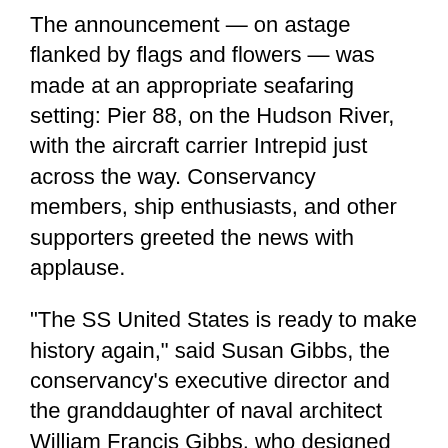The announcement — on astage flanked by flags and flowers — was made at an appropriate seafaring setting: Pier 88, on the Hudson River, with the aircraft carrier Intrepid just across the way. Conservancy members, ship enthusiasts, and other supporters greeted the news with applause.
“The SS United States is ready to make history again,” said Susan Gibbs, the conservancy’s executive director and the granddaughter of naval architect William Francis Gibbs, who designed the ship. “Full speed ahead!”
Crystal will pay the $60,000-a-month cost of docking and maintaining the ship during the feasibility study —a big benefit to the conservancy, which operates in a constant search for money. The cruise company will pay no additional fees for now. At the end of nine months, if the decision is to go